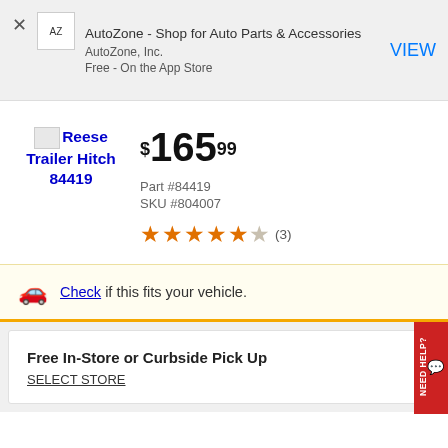AutoZone - Shop for Auto Parts & Accessories
AutoZone, Inc.
Free - On the App Store
[Figure (screenshot): AutoZone AZ logo placeholder image]
[Figure (photo): Reese Trailer Hitch 84419 product image placeholder]
Reese Trailer Hitch 84419
$165.99
Part #84419
SKU #804007
★★★★★ (3)
Check if this fits your vehicle.
Free In-Store or Curbside Pick Up
SELECT STORE